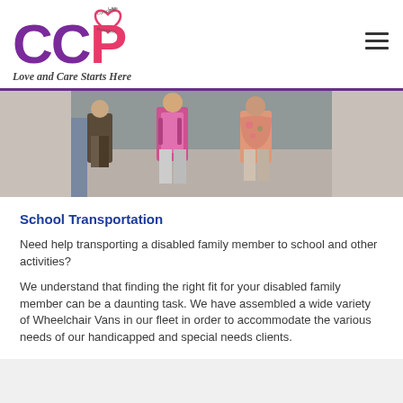CCP Complete Care Providers — Love and Care Starts Here
[Figure (photo): Children walking outdoors, viewed from behind, wearing backpacks]
School Transportation
Need help transporting a disabled family member to school and other activities?
We understand that finding the right fit for your disabled family member can be a daunting task. We have assembled a wide variety of Wheelchair Vans in our fleet in order to accommodate the various needs of our handicapped and special needs clients.